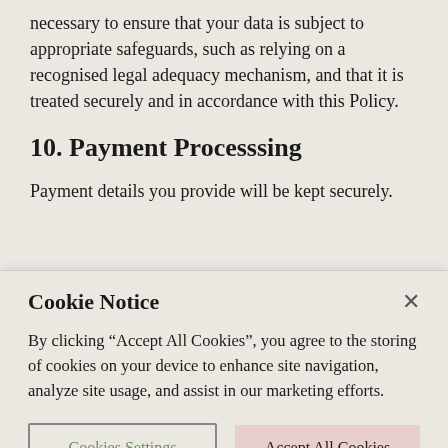necessary to ensure that your data is subject to appropriate safeguards, such as relying on a recognised legal adequacy mechanism, and that it is treated securely and in accordance with this Policy.
10. Payment Processsing
Payment details you provide will be kept securely.
Cookie Notice
By clicking “Accept All Cookies”, you agree to the storing of cookies on your device to enhance site navigation, analyze site usage, and assist in our marketing efforts.
Cookies Settings
Accept All Cookies